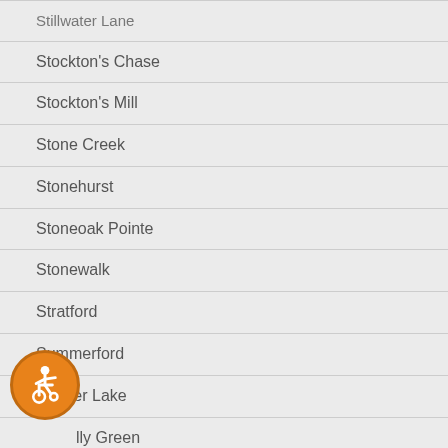Stillwater Lane (partial, top cut off)
Stockton's Chase
Stockton's Mill
Stone Creek
Stonehurst
Stoneoak Pointe
Stonewalk
Stratford
Summerford
Sumter Lake
lly Green
Tanglewood Crest